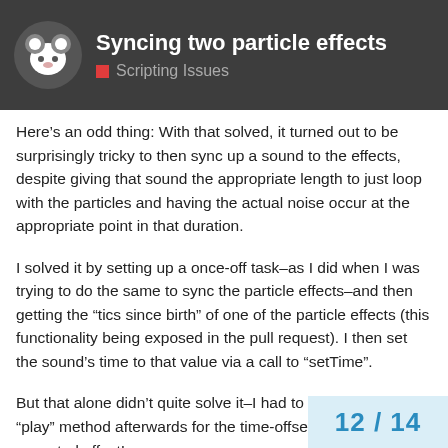Syncing two particle effects / Scripting Issues
Here’s an odd thing: With that solved, it turned out to be surprisingly tricky to then sync up a sound to the effects, despite giving that sound the appropriate length to just loop with the particles and having the actual noise occur at the appropriate point in that duration.
I solved it by setting up a once-off task–as I did when I was trying to do the same to sync the particle effects–and then getting the “tics since birth” of one of the particle effects (this functionality being exposed in the pull request). I then set the sound’s time to that value via a call to “setTime”.
But that alone didn’t quite solve it–I had to call the sound’s “play” method afterwards for the time-offset to take the expected effect!
But all that said, it did take the expect… sound seems to sync with the particle…
12 / 14